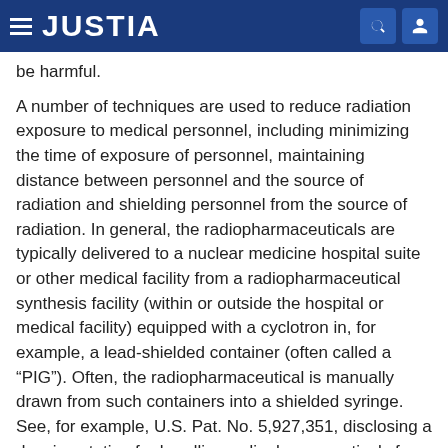JUSTIA
be harmful.
A number of techniques are used to reduce radiation exposure to medical personnel, including minimizing the time of exposure of personnel, maintaining distance between personnel and the source of radiation and shielding personnel from the source of radiation. In general, the radiopharmaceuticals are typically delivered to a nuclear medicine hospital suite or other medical facility from a radiopharmaceutical synthesis facility (within or outside the hospital or medical facility) equipped with a cyclotron in, for example, a lead-shielded container (often called a “PIG”). Often, the radiopharmaceutical is manually drawn from such containers into a shielded syringe. See, for example, U.S. Pat. No. 5,927,351, disclosing a drawing station for handling radiopharmaceuticals for use in syringes.